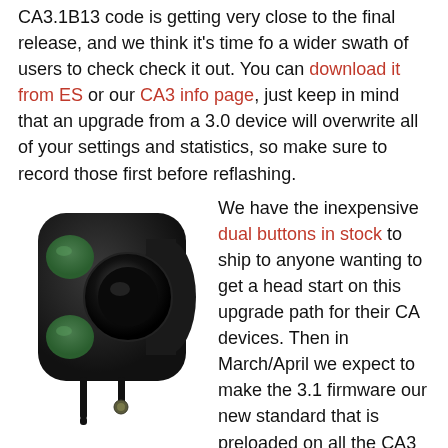CA3.1B13 code is getting very close to the final release, and we think it's time fo a wider swath of users to check check it out. You can download it from ES or our CA3 info page, just keep in mind that an upgrade from a 3.0 device will overwrite all of your settings and statistics, so make sure to record those first before reflashing.
[Figure (photo): Black dual-button handlebar controller with two green circular buttons and a central circular opening, with cables extending below.]
We have the inexpensive dual buttons in stock to ship to anyone wanting to get a head start on this upgrade path for their CA devices. Then in March/April we expect to make the 3.1 firmware our new standard that is preloaded on all the CA3 devices, and we will have a number of video tutorials covering the many other new features.